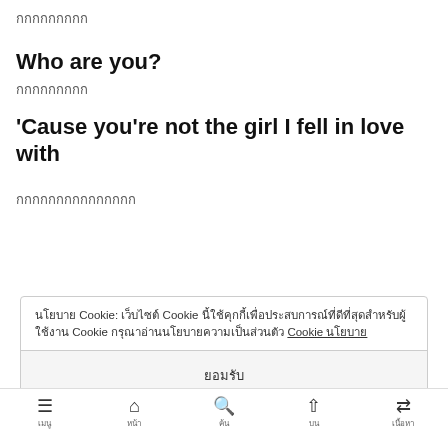กกกกกกกกก
Who are you?
กกกกกกกกก
'Cause you're not the girl I fell in love with
กกกกกกกกกกกกกกก
นโยบาย Cookie: เว็บไซต์ Cookie นี้ใช้คุกกี้เพื่อประสบการณ์ที่ดีที่สุดสำหรับผู้ใช้งาน Cookie กรุณาอ่านนโยบายความเป็นส่วนตัว Cookie นโยบาย
ยอมรับ
Who are you?
เมนู หน้า ค้น บน เนื้อหา